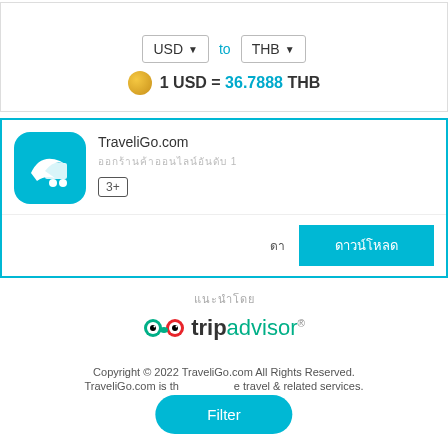ภา
USD ▼ to THB ▼
1 USD = 36.7888 THB
TraveliGo.com
ออกร้านค้าออนไลน์อันดับ 1
3+
ดา ดาวน์โหลด
แนะนำโดย tripadvisor
Copyright © 2022 TraveliGo.com All Rights Reserved.
TraveliGo.com is the travel & related services.
Filter